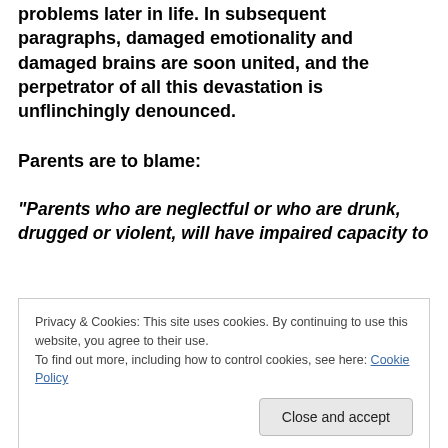problems later in life. In subsequent paragraphs, damaged emotionality and damaged brains are soon united, and the perpetrator of all this devastation is unflinchingly denounced.
Parents are to blame:
“Parents who are neglectful or who are drunk, drugged or violent, will have impaired capacity to
Privacy & Cookies: This site uses cookies. By continuing to use this website, you agree to their use.
To find out more, including how to control cookies, see here: Cookie Policy